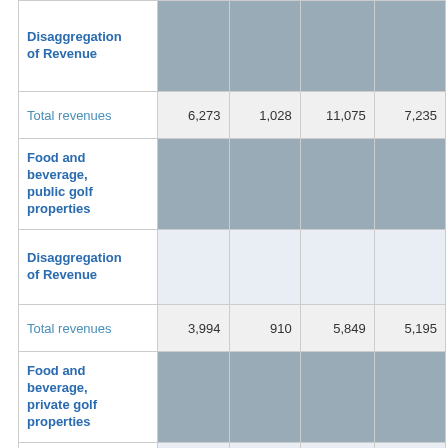|  |  |  |  |  |
| --- | --- | --- | --- | --- |
| Disaggregation of Revenue |  |  |  |  |
| Total revenues | 6,273 | 1,028 | 11,075 | 7,235 |
| Food and beverage, public golf properties |  |  |  |  |
| Disaggregation of Revenue |  |  |  |  |
| Total revenues | 3,994 | 910 | 5,849 | 5,195 |
| Food and beverage, private golf properties |  |  |  |  |
| Disaggregation of Revenue |  |  |  |  |
| Total revenues | 1,862 | 487 | 3,135 | 2,505 |
| Food and beverage, managed golf |  |  |  |  |